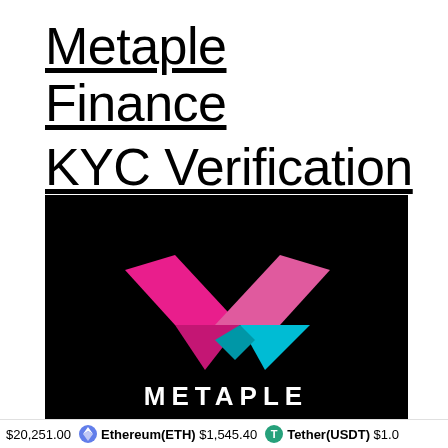Metaple Finance KYC Verification
[Figure (logo): Metaple Finance logo on black background — stylized X/chevron shape in pink/magenta and cyan/blue, with white text 'METAPLE' below]
$20,251.00  Ethereum(ETH) $1,545.40  Tether(USDT) $1.0